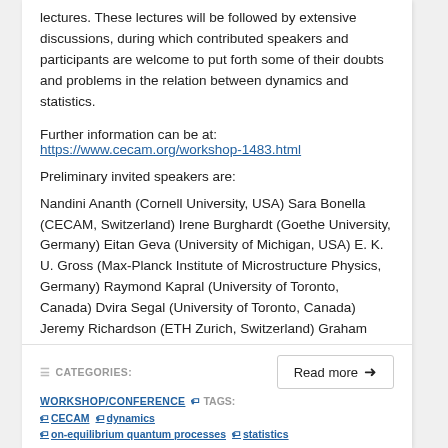lectures. These lectures will be followed by extensive discussions, during which contributed speakers and participants are welcome to put forth some of their doubts and problems in the relation between dynamics and statistics.
Further information can be at: https://www.cecam.org/workshop-1483.html
Preliminary invited speakers are:
Nandini Ananth (Cornell University, USA) Sara Bonella (CECAM, Switzerland) Irene Burghardt (Goethe University, Germany) Eitan Geva (University of Michigan, USA) E. K. U. Gross (Max-Planck Institute of Microstructure Physics, Germany) Raymond Kapral (University of Toronto, Canada) Dvira Segal (University of Toronto, Canada) Jeremy Richardson (ETH Zurich, Switzerland) Graham Worth (University College London, UK)
CATEGORIES: WORKSHOP/CONFERENCE  TAGS: CECAM  dynamics  on-equilibrium quantum processes  statistics